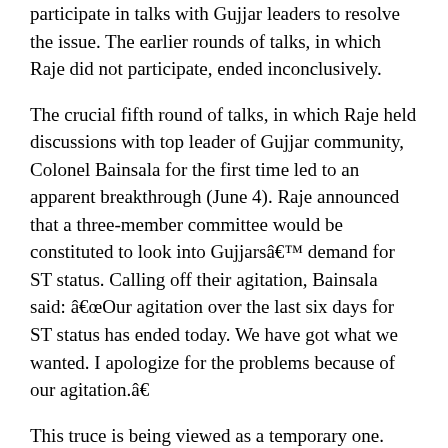participate in talks with Gujjar leaders to resolve the issue. The earlier rounds of talks, in which Raje did not participate, ended inconclusively.
The crucial fifth round of talks, in which Raje held discussions with top leader of Gujjar community, Colonel Bainsala for the first time led to an apparent breakthrough (June 4). Raje announced that a three-member committee would be constituted to look into Gujjarsâ€™ demand for ST status. Calling off their agitation, Bainsala said: â€œOur agitation over the last six days for ST status has ended today. We have got what we wanted. I apologize for the problems because of our agitation.â€
This truce is being viewed as a temporary one. With assembly elections due next year in Rajasthan, it is feared that politicians are likely to play on the issue leading to unrest in the state. Besides, taking suo motu